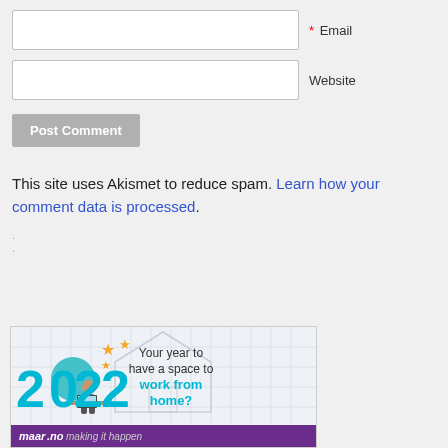* Email
Website
Post Comment
This site uses Akismet to reduce spam. Learn how your comment data is processed.
[Figure (illustration): Advertisement banner for 2022 showing teal '2022' numerals with a person sitting at a desk, orange stars, text 'Your year to have a space to work from home?' in teal/dark, and a purple bottom bar with brand name.]